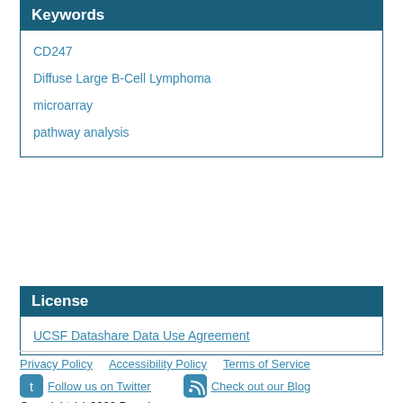Keywords
CD247
Diffuse Large B-Cell Lymphoma
microarray
pathway analysis
License
UCSF Datashare Data Use Agreement
Privacy Policy   Accessibility Policy   Terms of Service   Follow us on Twitter   Check out our Blog   Copyright (c) 2022 Dryad